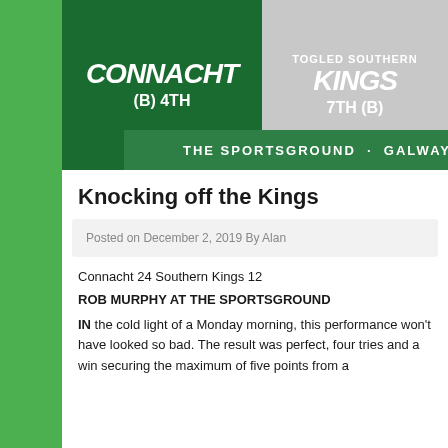[Figure (other): Sports match banner showing Connacht (B) 4th vs Southern Kings 7th (B) at The Sportsground, Galway. Left half is dark green with Connacht branding, right half is light grey with Southern Kings branding.]
Knocking off the Kings
Posted on December 2, 2019 By Alan
Connacht 24 Southern Kings 12
ROB MURPHY AT THE SPORTSGROUND
IN the cold light of a Monday morning, this performance won't have looked so bad. The result was perfect, four tries and a win securing the maximum of five points from a